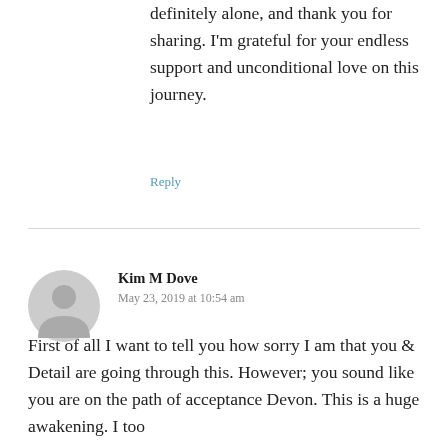definitely alone, and thank you for sharing. I'm grateful for your endless support and unconditional love on this journey.
Reply
Kim M Dove
May 23, 2019 at 10:54 am
[Figure (illustration): Gray circular avatar/user icon with silhouette of a person]
First of all I want to tell you how sorry I am that you & Detail are going through this. However; you sound like you are on the path of acceptance Devon. This is a huge awakening. I too